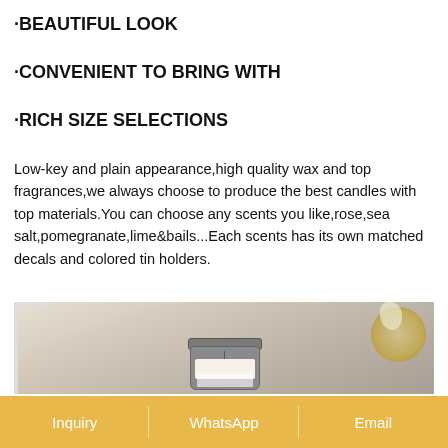·BEAUTIFUL LOOK
·CONVENIENT TO BRING WITH
·RICH SIZE SELECTIONS
Low-key and plain appearance,high quality wax and top fragrances,we always choose to produce the best candles with top materials.You can choose any scents you like,rose,sea salt,pomegranate,lime&bails...Each scents has its own matched decals and colored tin holders.
[Figure (photo): Photo of a scented candle in a tin holder with decorative label, placed on a white surface with a white frame and woven hat with flower in the background]
Inquiry   WhatsApp   Email